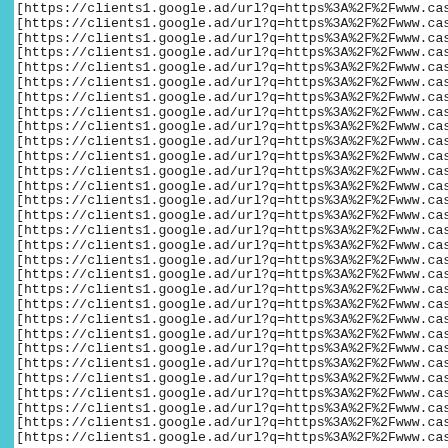A list of repeated URLs: [https://clients1.google.ad/url?q=https%3A%2F%2Fwww.casinop... (repeated ~30 times)